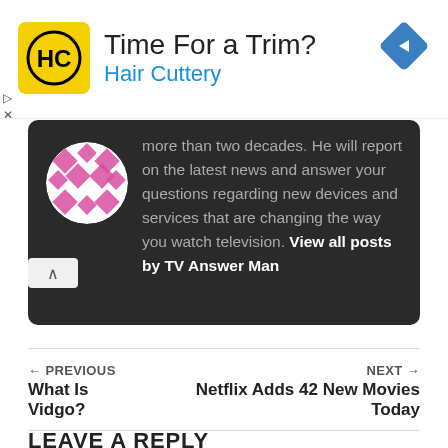[Figure (advertisement): Hair Cuttery ad banner with yellow logo, title 'Time For a Trim?', subtitle 'Hair Cuttery', and blue diamond navigation icon]
more than two decades. He will report on the latest news and answer your questions regarding new devices and services that are changing the way you watch television. View all posts by TV Answer Man
← PREVIOUS
What Is Vidgo?
NEXT →
Netflix Adds 42 New Movies Today
LEAVE A REPLY